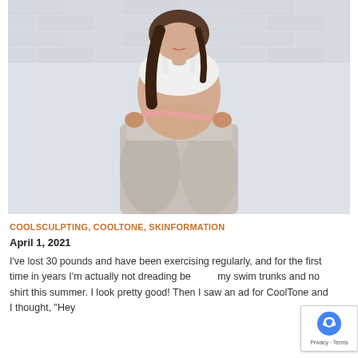[Figure (photo): A woman in a white sports bra and grey leggings measuring her waist with a pink measuring tape, standing in front of a white brick wall, smiling downward.]
COOLSCULPTING, COOLTONE, SKINFORMATION
April 1, 2021
I've lost 30 pounds and have been exercising regularly, and for the first time in years I'm actually not dreading being in my swim trunks and no shirt this summer. I look pretty good! Then I saw an ad for CoolTone and I thought, "Hey